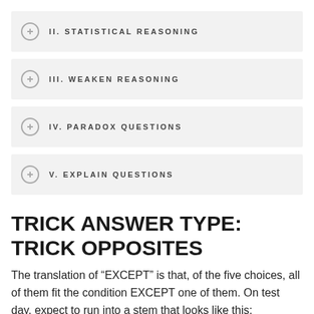II. STATISTICAL REASONING
III. WEAKEN REASONING
IV. PARADOX QUESTIONS
V. EXPLAIN QUESTIONS
TRICK ANSWER TYPE: TRICK OPPOSITES
The translation of “EXCEPT” is that, of the five choices, all of them fit the condition EXCEPT one of them. On test day, expect to run into a stem that looks like this: